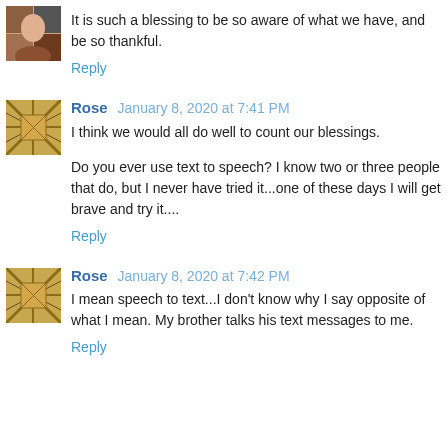[Figure (photo): Small avatar thumbnail photo of a person]
It is such a blessing to be so aware of what we have, and be so thankful.
Reply
[Figure (illustration): Small avatar with diamond/cross-hatch pattern]
Rose  January 8, 2020 at 7:41 PM
I think we would all do well to count our blessings.
Do you ever use text to speech? I know two or three people that do, but I never have tried it...one of these days I will get brave and try it....
Reply
[Figure (illustration): Small avatar with diamond/cross-hatch pattern]
Rose  January 8, 2020 at 7:42 PM
I mean speech to text...I don't know why I say opposite of what I mean. My brother talks his text messages to me.
Reply